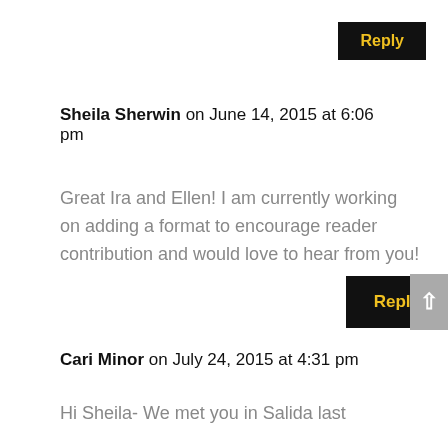Reply
Sheila Sherwin on June 14, 2015 at 6:06 pm
Great Ira and Ellen! I am currently working on adding a format to encourage reader contribution and would love to hear from you!
Reply
Cari Minor on July 24, 2015 at 4:31 pm
Hi Sheila- We met you in Salida last